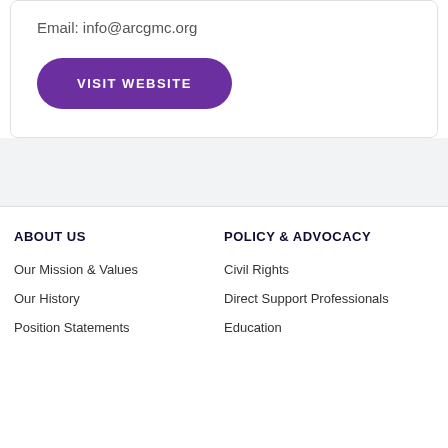Email: info@arcgmc.org
VISIT WEBSITE
ABOUT US
POLICY & ADVOCACY
Our Mission & Values
Civil Rights
Our History
Direct Support Professionals
Position Statements
Education